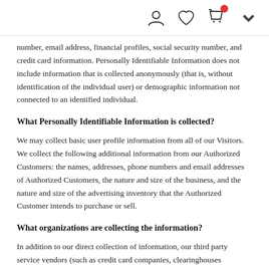[icons: user, heart, cart, chevron]
number, email address, financial profiles, social security number, and credit card information. Personally Identifiable Information does not include information that is collected anonymously (that is, without identification of the individual user) or demographic information not connected to an identified individual.
What Personally Identifiable Information is collected?
We may collect basic user profile information from all of our Visitors. We collect the following additional information from our Authorized Customers: the names, addresses, phone numbers and email addresses of Authorized Customers, the nature and size of the business, and the nature and size of the advertising inventory that the Authorized Customer intends to purchase or sell.
What organizations are collecting the information?
In addition to our direct collection of information, our third party service vendors (such as credit card companies, clearinghouses